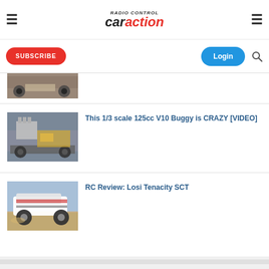RC Car Action
[Figure (screenshot): Subscribe button (red), Login button (blue), search icon]
[Figure (photo): Partial thumbnail of an RC vehicle at top, cropped]
[Figure (photo): Thumbnail of 1/3 scale V10 buggy with engine exposed]
This 1/3 scale 125cc V10 Buggy is CRAZY [VIDEO]
[Figure (photo): Thumbnail of Losi Tenacity SCT short course truck on dirt]
RC Review: Losi Tenacity SCT
[Figure (infographic): RC Car Action Newsletter banner — NEWS RIGHT TO YOUR INBOX!]